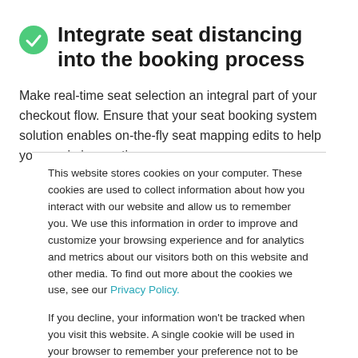Integrate seat distancing into the booking process
Make real-time seat selection an integral part of your checkout flow. Ensure that your seat booking system solution enables on-the-fly seat mapping edits to help you maximize seating
This website stores cookies on your computer. These cookies are used to collect information about how you interact with our website and allow us to remember you. We use this information in order to improve and customize your browsing experience and for analytics and metrics about our visitors both on this website and other media. To find out more about the cookies we use, see our Privacy Policy.
If you decline, your information won't be tracked when you visit this website. A single cookie will be used in your browser to remember your preference not to be tracked.